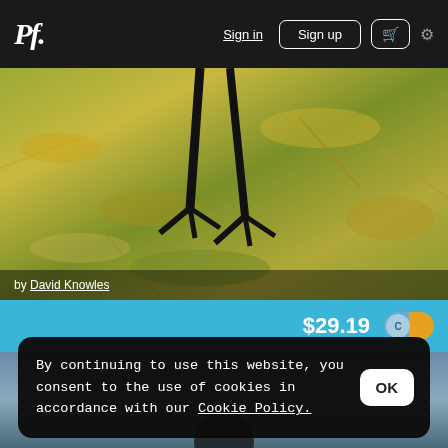Pf. Sign in Sign up [cart] [settings]
[Figure (photo): Close-up photo of a black bird's legs standing on green grass with fallen leaves, by David Knowles]
by David Knowles
$29.19
[Figure (photo): Partial photo showing a bird in water or muted background, partially obscured by cookie banner]
By continuing to use this website, you consent to the use of cookies in accordance with our Cookie Policy.